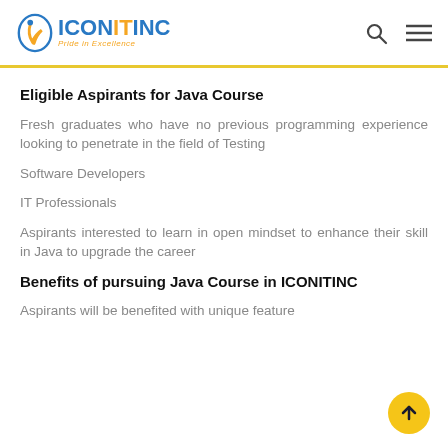ICONITINC Pride in Excellence
Eligible Aspirants for Java Course
Fresh graduates who have no previous programming experience looking to penetrate in the field of Testing
Software Developers
IT Professionals
Aspirants interested to learn in open mindset to enhance their skill in Java to upgrade the career
Benefits of pursuing Java Course in ICONITINC
Aspirants will be benefited with unique feature